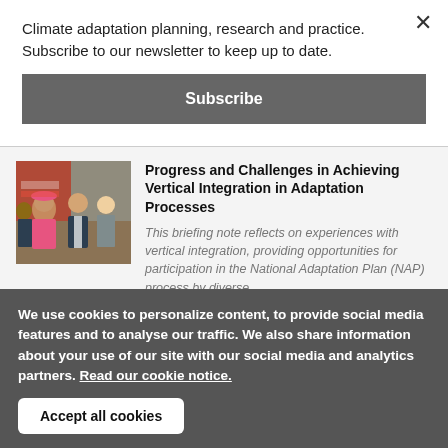Climate adaptation planning, research and practice. Subscribe to our newsletter to keep up to date.
Subscribe
Progress and Challenges in Achieving Vertical Integration in Adaptation Processes
[Figure (photo): Group of people at a conference or event, including a woman in a pink hat and a man in a suit]
This briefing note reflects on experiences with vertical integration, providing opportunities for participation in the National Adaptation Plan (NAP) process by diverse
We use cookies to personalize content, to provide social media features and to analyse our traffic. We also share information about your use of our site with our social media and analytics partners. Read our cookie notice.
Accept all cookies